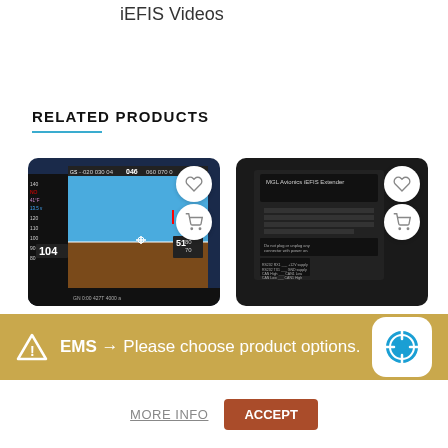iEFIS Videos
RELATED PRODUCTS
[Figure (screenshot): EFIS flight instrument display showing altitude 104, heading 046, speed 51, with blue sky and brown ground]
[Figure (photo): MGL Avionics iEFIS Extender black device with text labels and connector diagram on back]
We use cookies to improve your experience on our website. By browsing this website, you agree to our
EMS → Please choose product options.